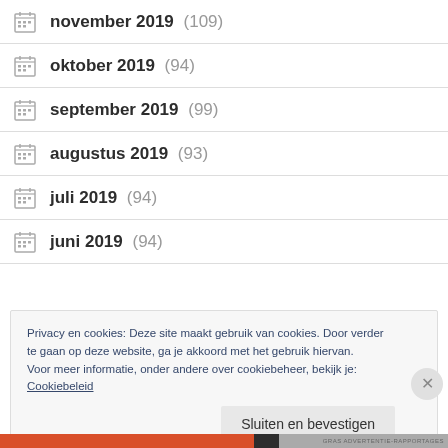november 2019 (109)
oktober 2019 (94)
september 2019 (99)
augustus 2019 (93)
juli 2019 (94)
juni 2019 (94)
Privacy en cookies: Deze site maakt gebruik van cookies. Door verder te gaan op deze website, ga je akkoord met het gebruik hiervan. Voor meer informatie, onder andere over cookiebeheer, bekijk je: Cookiebeleid
Sluiten en bevestigen